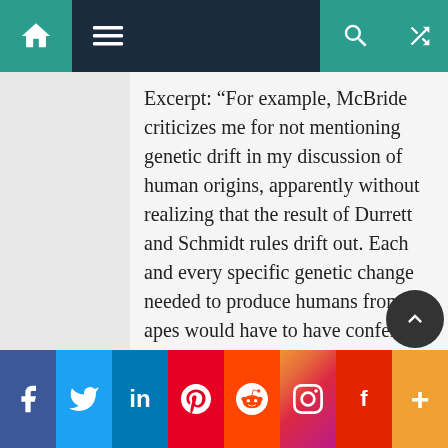Navigation bar with home, menu, search, and shuffle icons
Excerpt: “For example, McBride criticizes me for not mentioning genetic drift in my discussion of human origins, apparently without realizing that the result of Durrett and Schmidt rules drift out. Each and every specific genetic change needed to produce humans from apes would have to have conferred a significant selective advantage in order for humans to have appeared in the available time (i.e. the mutations cannot be ‘neutral’). Any aspect of the transition that requires two or more mutations to act in combination in order to increase fitness would take way too long (greater than 100 million years).
My challenge to McBride, and everyone else who believes the evolutionary story of human origins, is not to provide the list of mutations that (they think) did th
Facebook Twitter LinkedIn Pinterest Reddit Instagram Flipboard More